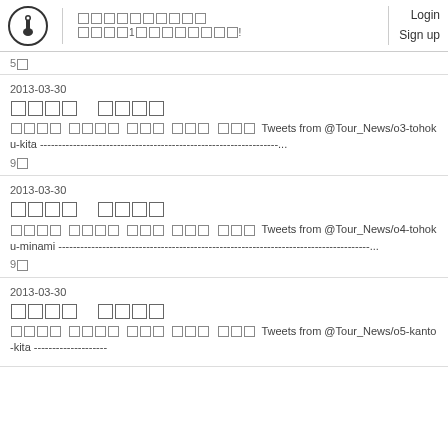[logo] [CJK text] Login Sign up
5[CJK]
2013-03-30
[CJK] [CJK]
[CJK] [CJK] [CJK] [CJK] [CJK] Tweets from @Tour_News/o3-tohoku-kita -------------------------------------------------...
9[CJK]
2013-03-30
[CJK] [CJK]
[CJK] [CJK] [CJK] [CJK] [CJK] Tweets from @Tour_News/o4-tohoku-minami -------------------------------------...
9[CJK]
2013-03-30
[CJK] [CJK]
[CJK] [CJK] [CJK] [CJK] [CJK] Tweets from @Tour_News/o5-kanto-kita -------------------